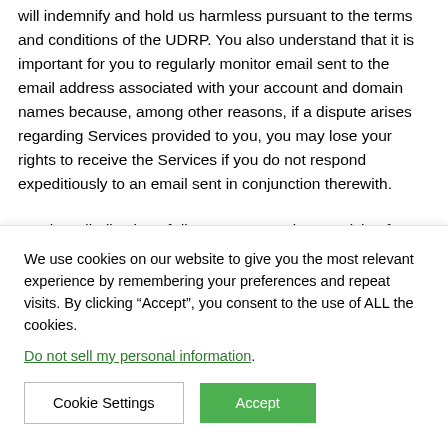will indemnify and hold us harmless pursuant to the terms and conditions of the UDRP. You also understand that it is important for you to regularly monitor email sent to the email address associated with your account and domain names because, among other reasons, if a dispute arises regarding Services provided to you, you may lose your rights to receive the Services if you do not respond expeditiously to an email sent in conjunction therewith.
For the adjudication of disputes concerning or arising from use of the registered domain name the Registrant shall submit, without prejudice to other potentially applicable jurisdictions, to the...
We use cookies on our website to give you the most relevant experience by remembering your preferences and repeat visits. By clicking “Accept”, you consent to the use of ALL the cookies.
Do not sell my personal information.